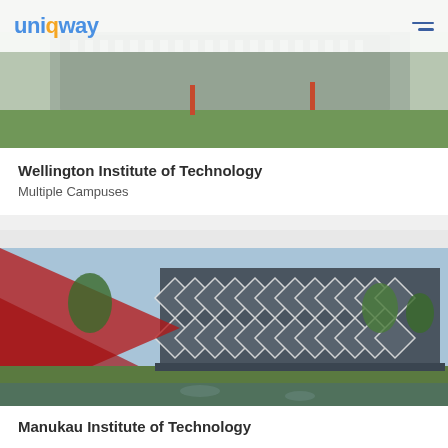uniqway
[Figure (photo): Exterior photo of Wellington Institute of Technology campus building with green lawn in foreground]
Wellington Institute of Technology
Multiple Campuses
[Figure (photo): Exterior photo of Manukau Institute of Technology building with distinctive diamond-patterned facade, red triangular design element on left, trees and grass in foreground]
Manukau Institute of Technology